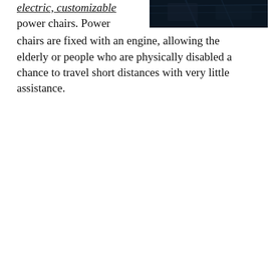electric, customizable power chairs. Power chairs are fixed with an engine, allowing the elderly or people who are physically disabled a chance to travel short distances with very little assistance.
[Figure (photo): Dark image, partially visible at top right of page, appears to show a dimly lit scene with blue/dark tones.]